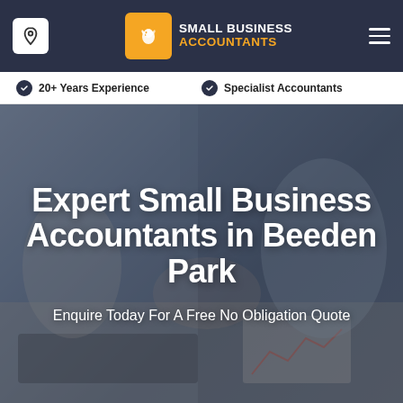[Figure (logo): Small Business Accountants logo with bird icon on orange background and navigation bar with location pin button and hamburger menu]
20+ Years Experience
Specialist Accountants
[Figure (photo): Business meeting photo with people shaking hands over a desk with a laptop, used as hero background image]
Expert Small Business Accountants in Beeden Park
Enquire Today For A Free No Obligation Quote